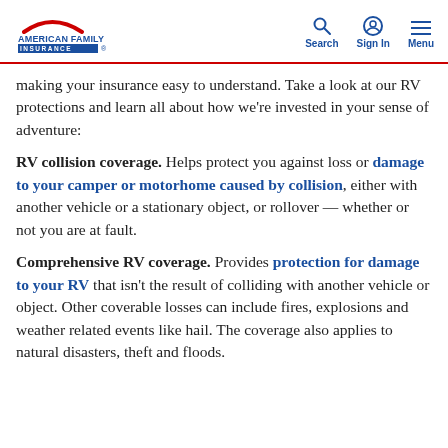American Family Insurance | Search | Sign In | Menu
making your insurance easy to understand. Take a look at our RV protections and learn all about how we’re invested in your sense of adventure:
RV collision coverage. Helps protect you against loss or damage to your camper or motorhome caused by collision, either with another vehicle or a stationary object, or rollover — whether or not you are at fault.
Comprehensive RV coverage. Provides protection for damage to your RV that isn’t the result of colliding with another vehicle or object. Other coverable losses can include fires, explosions and weather related events like hail. The coverage also applies to natural disasters, theft and floods.